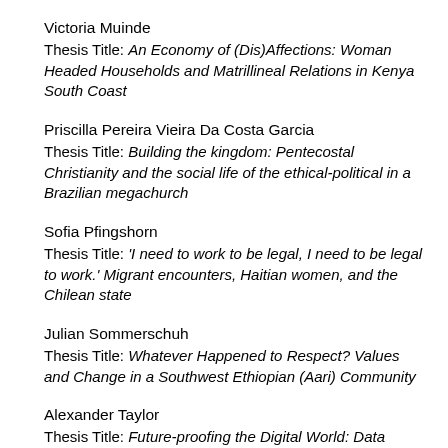Victoria Muinde
Thesis Title: An Economy of (Dis)Affections: Woman Headed Households and Matrillineal Relations in Kenya South Coast
Priscilla Pereira Vieira Da Costa Garcia
Thesis Title: Building the kingdom: Pentecostal Christianity and the social life of the ethical-political in a Brazilian megachurch
Sofia Pfingshorn
Thesis Title: 'I need to work to be legal, I need to be legal to work.' Migrant encounters, Haitian women, and the Chilean state
Julian Sommerschuh
Thesis Title: Whatever Happened to Respect? Values and Change in a Southwest Ethiopian (Aari) Community
Alexander Taylor
Thesis Title: Future-proofing the Digital World: Data...